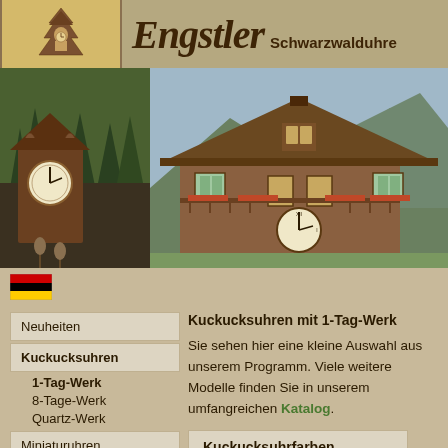Engstler Schwarzwalduhren
[Figure (photo): Two photos: left shows a cuckoo clock with forest background, right shows a large decorative Black Forest chalet/cuckoo clock building with mountains in background]
[Figure (logo): Engstler logo: stylized cuckoo clock figure with fir tree, on gold/tan background with dark border]
Neuheiten
Kuckucksuhren
1-Tag-Werk
8-Tage-Werk
Quartz-Werk
Miniaturuhren
Wetterhäuschen
Kuckucksuhren mit 1-Tag-Werk
Sie sehen hier eine kleine Auswahl aus unserem Programm. Viele weitere Modelle finden Sie in unserem umfangreichen Katalog.
Kuckucksuhrfarben